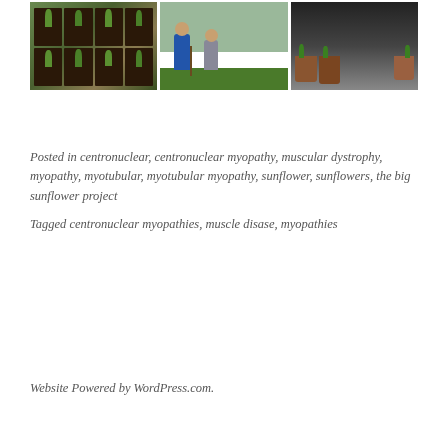[Figure (photo): Three photos side by side: seedling trays with young plants, two people gardening outdoors, and hands holding small pots with seedlings]
Posted in centronuclear, centronuclear myopathy, muscular dystrophy, myopathy, myotubular, myotubular myopathy, sunflower, sunflowers, the big sunflower project
Tagged centronuclear myopathies, muscle disase, myopathies
Website Powered by WordPress.com.